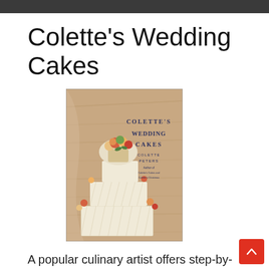Colette's Wedding Cakes
[Figure (photo): Book cover of 'Colette's Wedding Cakes' by Colette Peters, showing a multi-tiered wedding cake decorated with flowers on a wood-paneled background]
A popular culinary artist offers step-by-step instructions to create thirty of her most noted wedding cakes, including a stained glass cake, a cloisonne bell cake, an art deco cake